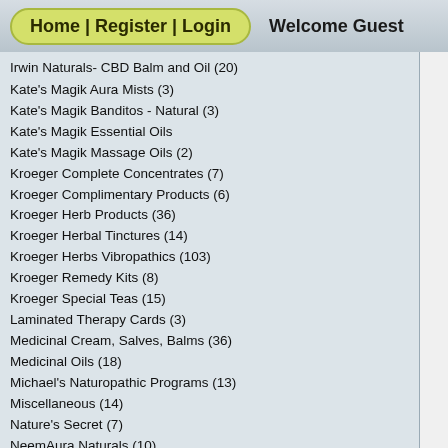Home | Register | Login   Welcome Guest
Irwin Naturals- CBD Balm and Oil (20)
Kate's Magik Aura Mists (3)
Kate's Magik Banditos - Natural (3)
Kate's Magik Essential Oils
Kate's Magik Massage Oils (2)
Kroeger Complete Concentrates (7)
Kroeger Complimentary Products (6)
Kroeger Herb Products (36)
Kroeger Herbal Tinctures (14)
Kroeger Herbs Vibropathics (103)
Kroeger Remedy Kits (8)
Kroeger Special Teas (15)
Laminated Therapy Cards (3)
Medicinal Cream, Salves, Balms (36)
Medicinal Oils (18)
Michael's Naturopathic Programs (13)
Miscellaneous (14)
Nature's Secret (7)
NeemAura Naturals (10)
Personal Care Products (43)
Pet Care (23)
Quantum Health Skin Care (12)
Rescue Remedy - (Bach Flower) (9)
Sleep Aids (19)
Smudge Sticks (3)
[Figure (screenshot): Quantum Health skin cream product image (tube)]
Quantum Health Skin Care C...
Herbal skin crack... soothe painful, r... hands, elbows...
[Figure (screenshot): Quantum Health SuperLysine bottle product image]
Quantum H...
The tablets will... important for co... occasional proble...
[Figure (screenshot): Quantum Health SuperLysine bottle product image (second)]
Quantum H...
The tablets will... important for co... occasional proble...